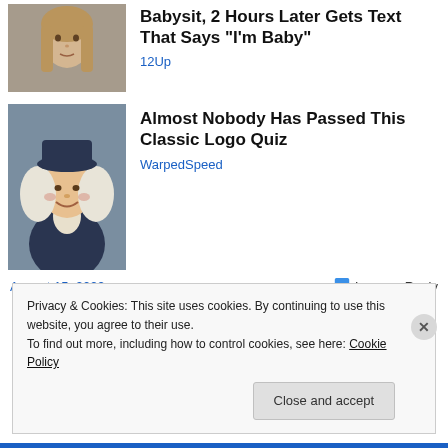[Figure (photo): Photo of a young girl with long blonde hair looking at camera]
Babysit, 2 Hours Later Gets Text That Says "I'm Baby"
12Up
[Figure (illustration): Illustration of a colonial-era figure (Quaker Oats style man) wearing a dark hat and white wig]
Almost Nobody Has Passed This Classic Logo Quiz
WarpedSpeed
August 15, 2022
Leave a Reply
Privacy & Cookies: This site uses cookies. By continuing to use this website, you agree to their use.
To find out more, including how to control cookies, see here: Cookie Policy